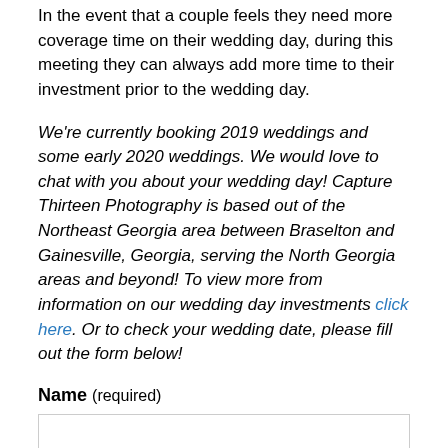In the event that a couple feels they need more coverage time on their wedding day, during this meeting they can always add more time to their investment prior to the wedding day.
We're currently booking 2019 weddings and some early 2020 weddings. We would love to chat with you about your wedding day! Capture Thirteen Photography is based out of the Northeast Georgia area between Braselton and Gainesville, Georgia, serving the North Georgia areas and beyond! To view more from information on our wedding day investments click here. Or to check your wedding date, please fill out the form below!
Name (required)